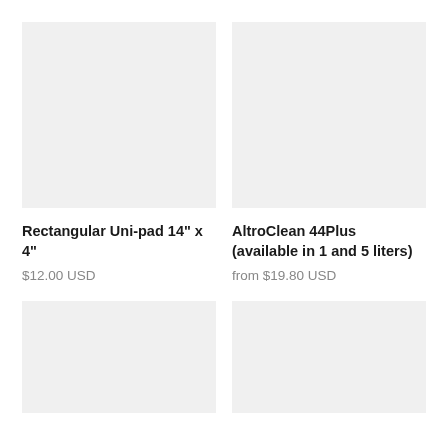[Figure (photo): Product image placeholder for Rectangular Uni-pad 14" x 4" - light gray rectangle]
[Figure (photo): Product image placeholder for AltroClean 44Plus - light gray rectangle]
Rectangular Uni-pad 14" x 4"
$12.00 USD
AltroClean 44Plus (available in 1 and 5 liters)
from $19.80 USD
[Figure (photo): Product image placeholder - light gray rectangle (bottom left)]
[Figure (photo): Product image placeholder - light gray rectangle (bottom right)]